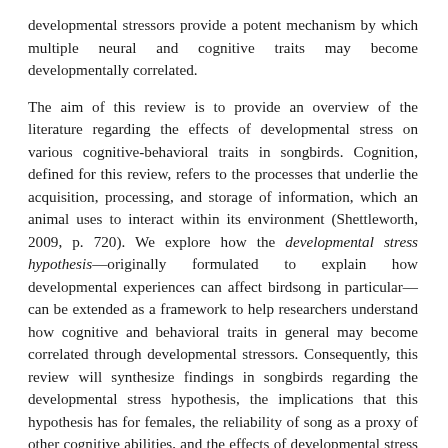developmental stressors provide a potent mechanism by which multiple neural and cognitive traits may become developmentally correlated.
The aim of this review is to provide an overview of the literature regarding the effects of developmental stress on various cognitive-behavioral traits in songbirds. Cognition, defined for this review, refers to the processes that underlie the acquisition, processing, and storage of information, which an animal uses to interact within its environment (Shettleworth, 2009, p. 720). We explore how the developmental stress hypothesis—originally formulated to explain how developmental experiences can affect birdsong in particular—can be extended as a framework to help researchers understand how cognitive and behavioral traits in general may become correlated through developmental stressors. Consequently, this review will synthesize findings in songbirds regarding the developmental stress hypothesis, the implications that this hypothesis has for females, the reliability of song as a proxy of other cognitive abilities, and the effects of developmental stress on spatial cognition and personalities/behavioral syndromes—